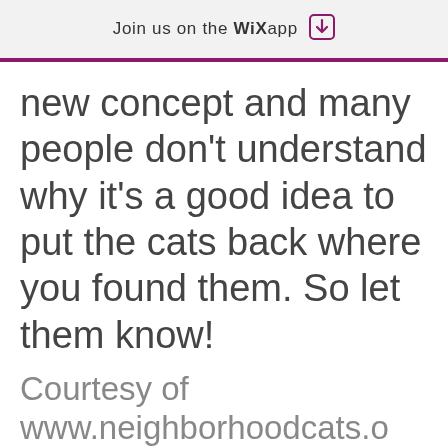Join us on the WiX app ↓
new concept and many people don't understand why it's a good idea to put the cats back where you found them. So let them know!
Courtesy of
www.neighborhoodcats.o